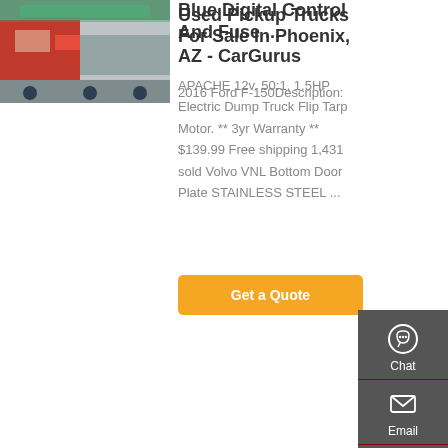[Figure (photo): Green truck/dump truck photo]
Blue Digital Control And Fuse ...
APACHE 12v, 50:1, 1.5HP Electric Dump Truck Flip Tarp Motor. ** 3yr Warranty ** $139.99 Free shipping 1,431 sold Volvo VNL Bottom Door Plate STAINLESS STEEL ...
[Figure (screenshot): Get a Quote orange button]
[Figure (photo): Red semi truck / tractor photo]
Used Pickup Trucks For Sale In Phoenix, AZ - CarGurus
2016 Ford F-150Description: